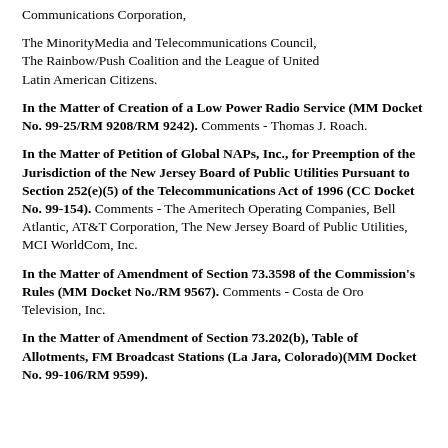Communications Corporation,
The MinorityMedia and Telecommunications Council, The Rainbow/Push Coalition and the League of United Latin American Citizens.
In the Matter of Creation of a Low Power Radio Service (MM Docket No. 99-25/RM 9208/RM 9242). Comments - Thomas J. Roach.
In the Matter of Petition of Global NAPs, Inc., for Preemption of the Jurisdiction of the New Jersey Board of Public Utilities Pursuant to Section 252(e)(5) of the Telecommunications Act of 1996 (CC Docket No. 99-154). Comments - The Ameritech Operating Companies, Bell Atlantic, AT&T Corporation, The New Jersey Board of Public Utilities, MCI WorldCom, Inc.
In the Matter of Amendment of Section 73.3598 of the Commission's Rules (MM Docket No./RM 9567). Comments - Costa de Oro Television, Inc.
In the Matter of Amendment of Section 73.202(b), Table of Allotments, FM Broadcast Stations (La Jara, Colorado)(MM Docket No. 99-106/RM 9599).